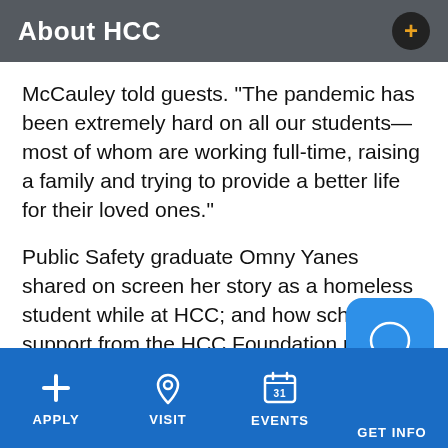About HCC
McCauley told guests. “The pandemic has been extremely hard on all our students—most of whom are working full-time, raising a family and trying to provide a better life for their loved ones.”
Public Safety graduate Omny Yanes shared on screen her story as a homeless student while at HCC; and how scholarship support from the HCC Foundation put her back on her feet and now, she is an EMS technician and li… independently. “To this day, I’m a p…
APPLY  VISIT  EVENTS  GET INFO